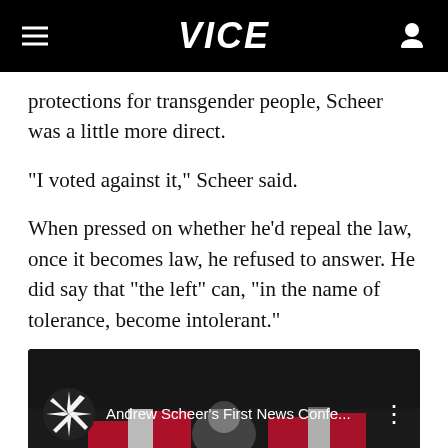VICE
protections for transgender people, Scheer was a little more direct.
“I voted against it,” Scheer said.
When pressed on whether he’d repeal the law, once it becomes law, he refused to answer. He did say that “the left” can, “in the name of tolerance, become intolerant.”
[Figure (screenshot): YouTube video embed showing 'Andrew Scheer's First News Confe...' with a thumbnail of Andrew Scheer at a press conference with Canadian flags in background]